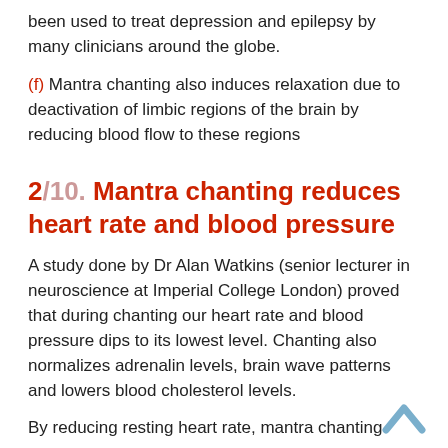been used to treat depression and epilepsy by many clinicians around the globe.
(f) Mantra chanting also induces relaxation due to deactivation of limbic regions of the brain by reducing blood flow to these regions
2/10. Mantra chanting reduces heart rate and blood pressure
A study done by Dr Alan Watkins (senior lecturer in neuroscience at Imperial College London) proved that during chanting our heart rate and blood pressure dips to its lowest level. Chanting also normalizes adrenalin levels, brain wave patterns and lowers blood cholesterol levels.
By reducing resting heart rate, mantra chanting